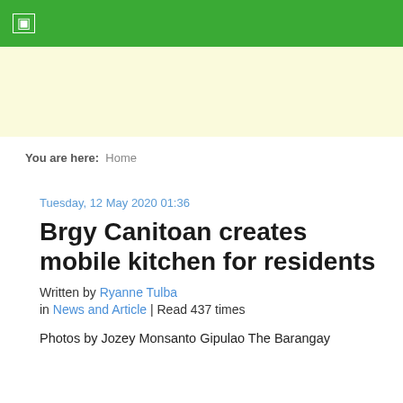☰
You are here:  Home
Tuesday, 12 May 2020 01:36
Brgy Canitoan creates mobile kitchen for residents
Written by Ryanne Tulba
in News and Article | Read 437 times
Photos by Jozey Monsanto Gipulao The Barangay